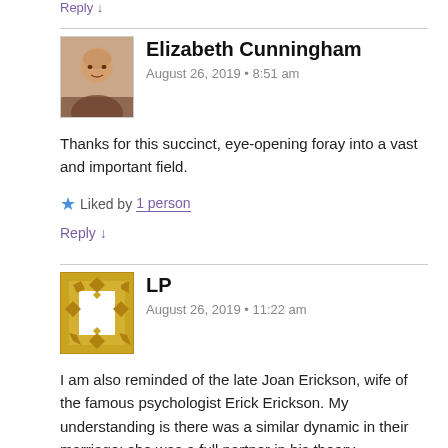Reply ↓
Elizabeth Cunningham
August 26, 2019 • 8:51 am
Thanks for this succinct, eye-opening foray into a vast and important field.
Liked by 1 person
Reply ↓
LP
August 26, 2019 • 11:22 am
I am also reminded of the late Joan Erickson, wife of the famous psychologist Erick Erickson. My understanding is there was a similar dynamic in their marriage: she was a full partner in his theory development and writing, but he got all the credit.